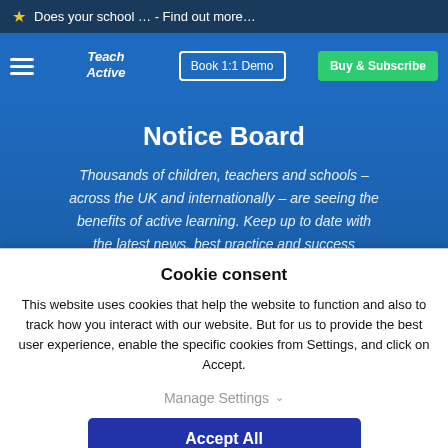Does your school … - Find out more…
[Figure (logo): Teach Active logo with hamburger menu, Book 1:1 Demo button, and Buy & Subscribe button]
Notice Board
Thousands of children, teachers and schools – across the UK and internationally – are seeing the benefits of active learning. Keep up to date with the latest news, best practice and success stories from across the industry
Cookie consent
This website uses cookies that help the website to function and also to track how you interact with our website. But for us to provide the best user experience, enable the specific cookies from Settings, and click on Accept.
Manage Settings
Accept All